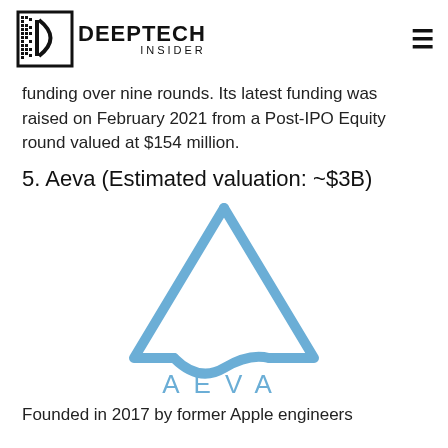DEEPTECH INSIDER
funding over nine rounds. Its latest funding was raised on February 2021 from a Post-IPO Equity round valued at $154 million.
5. Aeva (Estimated valuation: ~$3B)
[Figure (logo): Aeva company logo — a blue triangle outline with a curved bottom forming the letter A, and the text AEVA in blue spaced capitals below]
Founded in 2017 by former Apple engineers